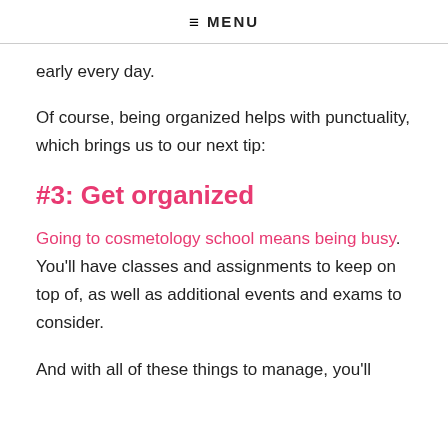≡ MENU
early every day.
Of course, being organized helps with punctuality, which brings us to our next tip:
#3: Get organized
Going to cosmetology school means being busy. You'll have classes and assignments to keep on top of, as well as additional events and exams to consider.
And with all of these things to manage, you'll